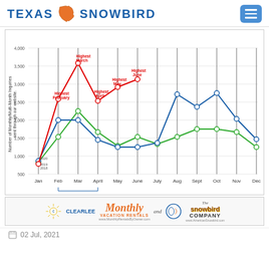[Figure (logo): Texas Snowbird logo with Texas outline in orange and blue text]
[Figure (line-chart): Multi-year line chart showing monthly inquiry counts 2015-2021. Green line (higher years ~2019-2020), blue line (lower years), red line (2021 highest). Notable annotations: Highest February, Highest March 2021, Highest April, Highest May, Highest June 2021. 2020 Coronavirus Closures bracket shown for Feb-April. JUNE 2021 label at bottom.]
[Figure (logo): Sponsor bar: Clearlee sun logo, Monthly Vacation Rentals (www.MonthlyRentalsByOwner.com) and The Snowbird Company (www.AmericanSnowbird.com)]
02 Jul, 2021